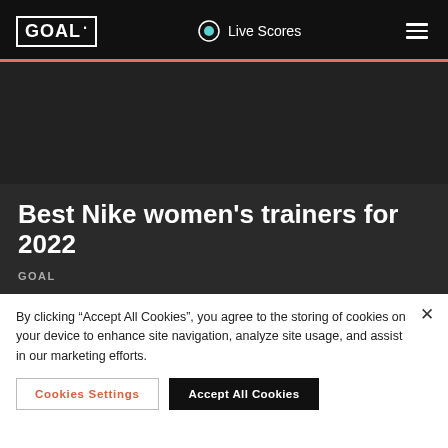GOAL | Live Scores
[Figure (other): Dark hero image area placeholder for article header]
Best Nike women's trainers for 2022
GOAL
By clicking “Accept All Cookies”, you agree to the storing of cookies on your device to enhance site navigation, analyze site usage, and assist in our marketing efforts.
Cookies Settings | Accept All Cookies